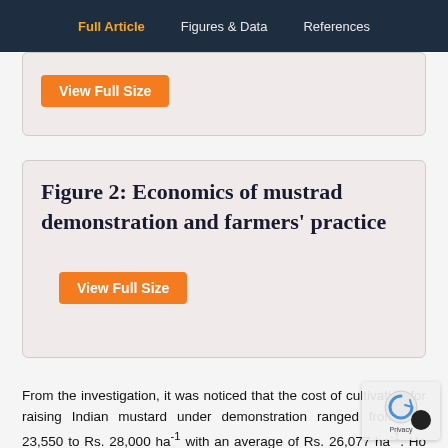Full Article   Figures & Data   References
[Figure (other): Partial figure box with View Full Size button (figure 1, cropped at top)]
Figure 2: Economics of mustrad demonstration and farmers' practice
[Figure (other): Figure 2 box with View Full Size button — Economics of mustrad demonstration and farmers' practice]
From the investigation, it was noticed that the cost of cultivation for raising Indian mustard under demonstration ranged from Rs. 23,550 to Rs. 28,000 ha-1 with an average of Rs. 26,077 ha-1. Ho under farmers' practice (control), as aga demonstration the cost of cultivation of Indian m ranges from Rs. 29,000 ha-1 to Rs. 36,301 ha-1 with an